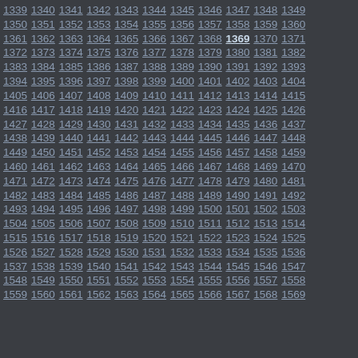Sequential numbered links from 1339 to 1569, with 1369 shown in bold. Numbers are arranged in rows of 11, displayed as underlined hyperlinks on a dark gray background.